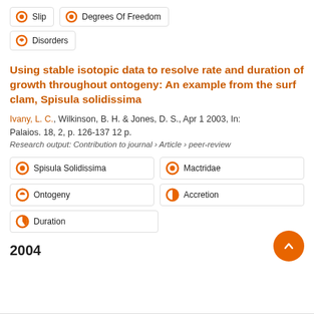Slip
Degrees Of Freedom
Disorders
Using stable isotopic data to resolve rate and duration of growth throughout ontogeny: An example from the surf clam, Spisula solidissima
Ivany, L. C., Wilkinson, B. H. & Jones, D. S., Apr 1 2003, In: Palaios. 18, 2, p. 126-137 12 p.
Research output: Contribution to journal › Article › peer-review
Spisula Solidissima
Mactridae
Ontogeny
Accretion
Duration
2004